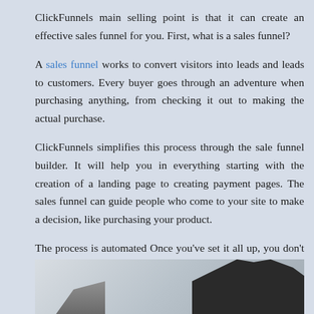ClickFunnels main selling point is that it can create an effective sales funnel for you. First, what is a sales funnel?
A sales funnel works to convert visitors into leads and leads to customers. Every buyer goes through an adventure when purchasing anything, from checking it out to making the actual purchase.
ClickFunnels simplifies this process through the sale funnel builder. It will help you in everything starting with the creation of a landing page to creating payment pages. The sales funnel can guide people who come to your site to make a decision, like purchasing your product.
The process is automated Once you've set it all up, you don't have to worry about anything else and you can use the time to concentrate on other aspects in your enterprise.
[Figure (photo): Partial view of a black-and-white photograph showing two figures, one on the left appearing to be in a light setting and one on the right with dark hair visible against a lighter background.]